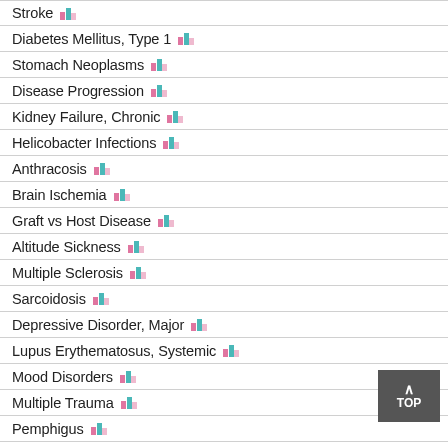Stroke
Diabetes Mellitus, Type 1
Stomach Neoplasms
Disease Progression
Kidney Failure, Chronic
Helicobacter Infections
Anthracosis
Brain Ischemia
Graft vs Host Disease
Altitude Sickness
Multiple Sclerosis
Sarcoidosis
Depressive Disorder, Major
Lupus Erythematosus, Systemic
Mood Disorders
Multiple Trauma
Pemphigus